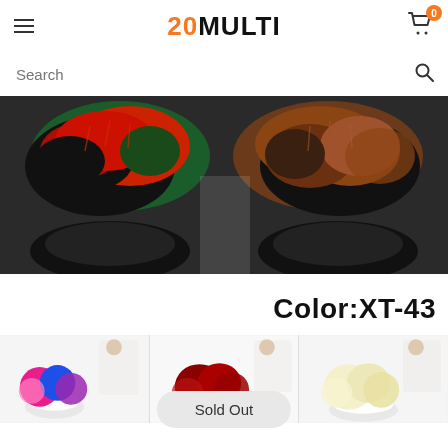20MULTI
Search
[Figure (photo): Close-up top view of fur slippers with multicolor fox fur in black, red, and orange/brown tones]
Color:XT-43
[Figure (photo): Three thumbnail photos of fur slippers: left shows pink/blue/purple fur on white sole, center shows red fur on white sole, right shows cream/yellow fur on white sole]
Sold Out